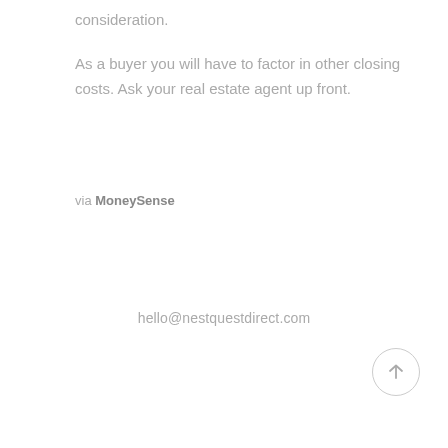consideration.
As a buyer you will have to factor in other closing costs. Ask your real estate agent up front.
via MoneySense
hello@nestquestdirect.com